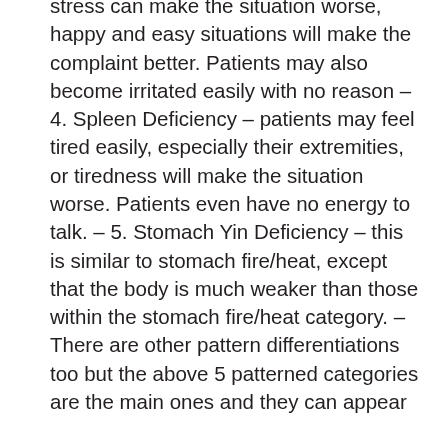stress can make the situation worse, happy and easy situations will make the complaint better. Patients may also become irritated easily with no reason – 4. Spleen Deficiency – patients may feel tired easily, especially their extremities, or tiredness will make the situation worse. Patients even have no energy to talk. – 5. Stomach Yin Deficiency – this is similar to stomach fire/heat, except that the body is much weaker than those within the stomach fire/heat category. – There are other pattern differentiations too but the above 5 patterned categories are the main ones and they can appear